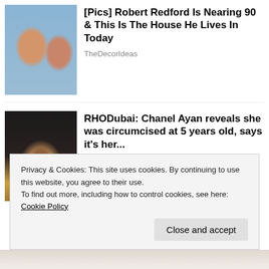[Figure (photo): Photo of two people, man with blonde hair and a woman, smiling together]
[Pics] Robert Redford Is Nearing 90 & This Is The House He Lives In Today
TheDecorIdeas
[Figure (photo): Photo of a woman in a gold sequin dress against a dark background]
RHODubai: Chanel Ayan reveals she was circumcised at 5 years old, says it's her...
The Grio
Privacy & Cookies: This site uses cookies. By continuing to use this website, you agree to their use.
To find out more, including how to control cookies, see here: Cookie Policy